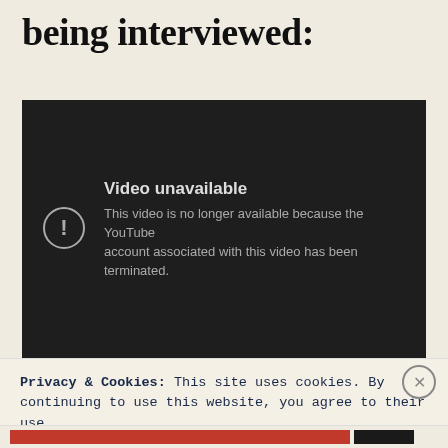being interviewed:
[Figure (screenshot): YouTube embedded video player showing error message: 'Video unavailable. This video is no longer available because the YouTube account associated with this video has been terminated.']
Privacy & Cookies: This site uses cookies. By continuing to use this website, you agree to their use. To find out more, including how to control cookies, see here: Cookie Policy
CLOSE AND ACCEPT